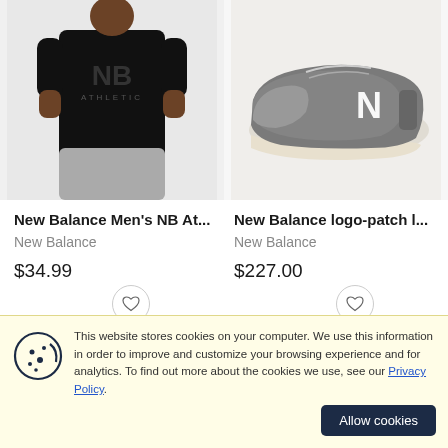[Figure (photo): Person wearing a black New Balance athletic t-shirt with grey shorts]
[Figure (photo): Grey New Balance 991 sneaker with white N logo on side]
New Balance Men's NB At...
New Balance
$34.99
New Balance logo-patch l...
New Balance
$227.00
This website stores cookies on your computer. We use this information in order to improve and customize your browsing experience and for analytics. To find out more about the cookies we use, see our Privacy Policy.